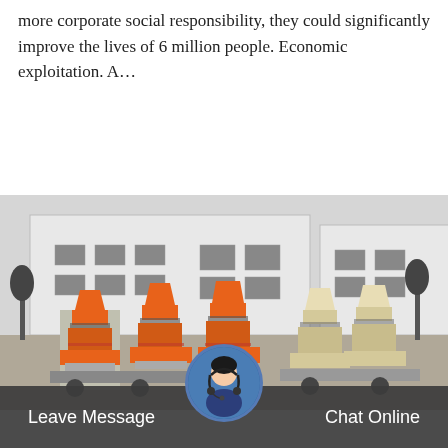more corporate social responsibility, they could significantly improve the lives of 6 million people. Economic exploitation. A…
Get Price
[Figure (photo): Industrial machinery yard showing large orange cone crushers and beige/cream colored crushers in front of a white industrial factory building. Multiple units staged outdoors.]
Leave Message
[Figure (photo): Circular avatar of a female customer service representative wearing a headset]
Chat Online